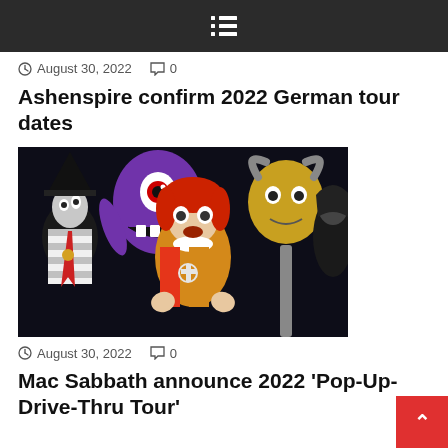Navigation menu icon (hamburger)
August 30, 2022   0
Ashenspire confirm 2022 German tour dates
[Figure (photo): Group of performers in Halloween/horror costumes including a person dressed as Ronald McDonald with zombie makeup, a purple monster with one eye, a character with a black hat, and a character with bull horns, all against a dark background]
August 30, 2022   0
Mac Sabbath announce 2022 'Pop-Up-Drive-Thru Tour'